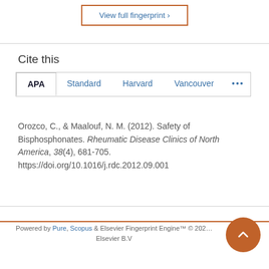View full fingerprint ›
Cite this
APA  Standard  Harvard  Vancouver  •••
Orozco, C., & Maalouf, N. M. (2012). Safety of Bisphosphonates. Rheumatic Disease Clinics of North America, 38(4), 681-705. https://doi.org/10.1016/j.rdc.2012.09.001
Powered by Pure, Scopus & Elsevier Fingerprint Engine™ © 2022 Elsevier B.V